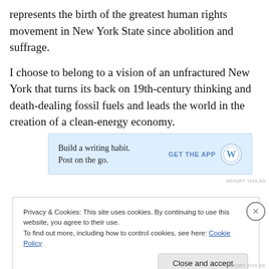represents the birth of the greatest human rights movement in New York State since abolition and suffrage.
I choose to belong to a vision of an unfractured New York that turns its back on 19th-century thinking and death-dealing fossil fuels and leads the world in the creation of a clean-energy economy.
[Figure (other): WordPress app advertisement banner: 'Build a writing habit. Post on the go.' with GET THE APP button and WordPress logo]
REPORT THIS AD
Privacy & Cookies: This site uses cookies. By continuing to use this website, you agree to their use.
To find out more, including how to control cookies, see here: Cookie Policy
Close and accept